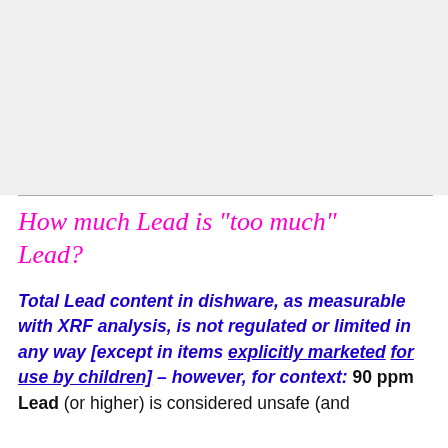How much Lead is "too much" Lead?
Total Lead content in dishware, as measurable with XRF analysis, is not regulated or limited in any way [except in items explicitly marketed for use by children] – however, for context: 90 ppm Lead (or higher) is considered unsafe (and